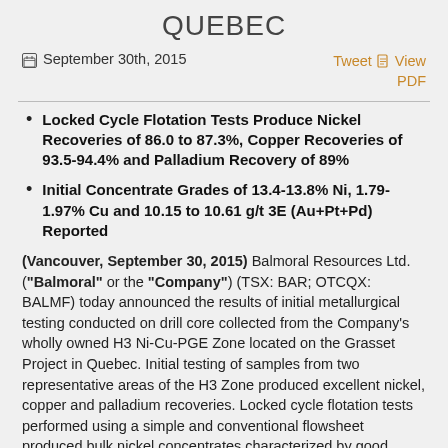QUEBEC
September 30th, 2015   Tweet  View PDF
Locked Cycle Flotation Tests Produce Nickel Recoveries of 86.0 to 87.3%, Copper Recoveries of 93.5-94.4% and Palladium Recovery of 89%
Initial Concentrate Grades of 13.4-13.8% Ni, 1.79-1.97% Cu and 10.15 to 10.61 g/t 3E (Au+Pt+Pd) Reported
(Vancouver, September 30, 2015) Balmoral Resources Ltd. (“Balmoral” or the “Company”) (TSX: BAR; OTCQX: BALMF) today announced the results of initial metallurgical testing conducted on drill core collected from the Company's wholly owned H3 Ni-Cu-PGE Zone located on the Grasset Project in Quebec. Initial testing of samples from two representative areas of the H3 Zone produced excellent nickel, copper and palladium recoveries. Locked cycle flotation tests performed using a simple and conventional flowsheet produced bulk nickel concentrates characterized by good nickel, copper and palladium grades.